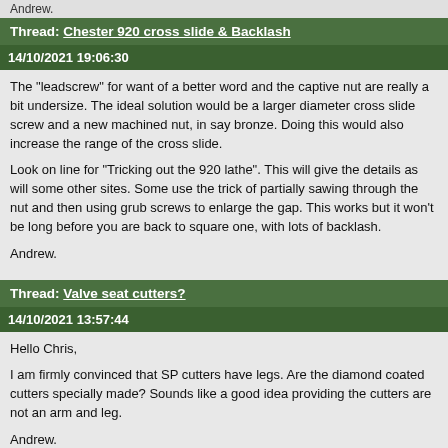Andrew.
Thread: Chester 920 cross slide & Backlash
14/10/2021 19:06:30
The "leadscrew" for want of a better word and the captive nut are really a bit undersize. The ideal solution would be a larger diameter cross slide screw and a new machined nut, in say bronze. Doing this would also increase the range of the cross slide.
Look on line for "Tricking out the 920 lathe". This will give the details as will some other sites. Some use the trick of partially sawing through the nut and then using grub screws to enlarge the gap. This works but it won't be long before you are back to square one, with lots of backlash.
Andrew.
Thread: Valve seat cutters?
14/10/2021 13:57:44
Hello Chris,
I am firmly convinced that SP cutters have legs. Are the diamond coated cutters specially made? Sounds like a good idea providing the cutters are not an arm and leg.
Andrew.
Edited By Andrew Tinsley on 14/10/2021 13:58:09
Thread: Vfd and motor efficiency
14/10/2021 13:52:30